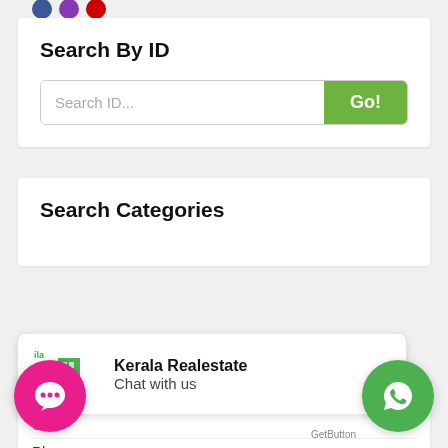Search By ID
Search ID...
Search Categories
[Figure (logo): Kerala Realestate logo with building icon in blue and green]
Kerala Realestate
Chat with us
Phone
[Figure (other): Pink floating chat button with speech bubble dots icon]
[Figure (other): Green floating WhatsApp button]
GetButton